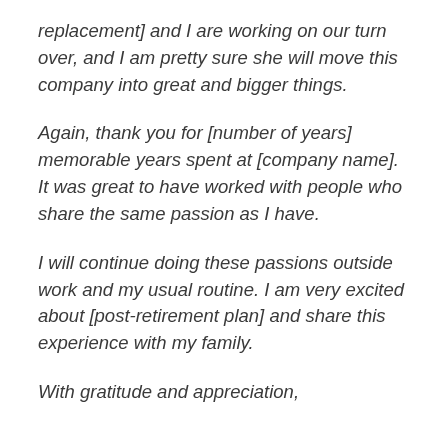replacement] and I are working on our turn over, and I am pretty sure she will move this company into great and bigger things.
Again, thank you for [number of years] memorable years spent at [company name]. It was great to have worked with people who share the same passion as I have.
I will continue doing these passions outside work and my usual routine. I am very excited about [post-retirement plan] and share this experience with my family.
With gratitude and appreciation,